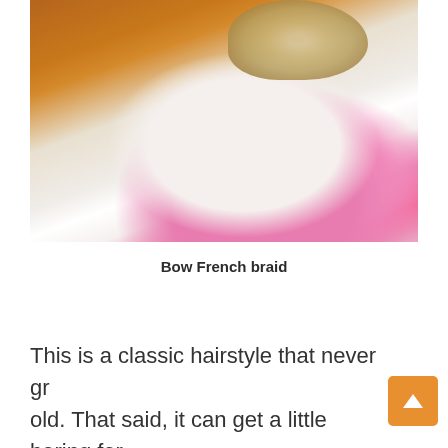[Figure (photo): Back view of a person's head showing a blonde/light brown French braid updo hairstyle. The person is wearing a bright pink top. Background shows an orange/brown wall on the left and light grey on the right.]
Bow French braid
This is a classic hairstyle that never grows old. That said, it can get a little boring for